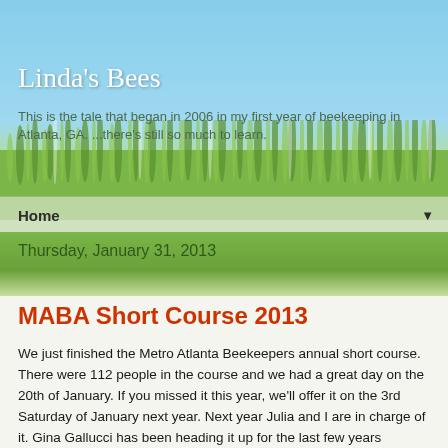Linda's Bees
This is the tale that began in 2006 in my first year of beekeeping in Atlanta, GA. ...there's still so much to learn.
Home ▼
Thursday, January 31, 2013
MABA Short Course 2013
We just finished the Metro Atlanta Beekeepers annual short course.  There were 112 people in the course and we had a great day on the 20th of January.  If you missed it this year, we'll offer it on the 3rd Saturday of January next year.  Next year Julia and I are in charge of it.  Gina Gallucci has been heading it up for the last few years